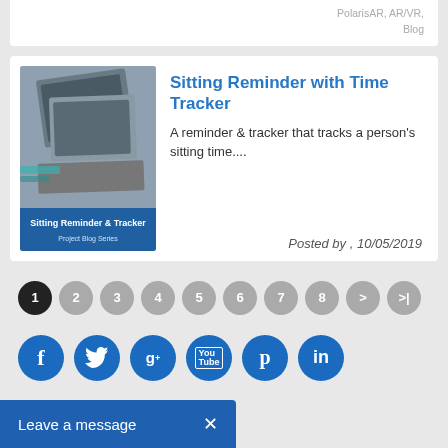PolarisAR, AR/VR, Blog
[Figure (photo): Photo of laptops/tablets stacked on a desk with blue label at bottom: 'Sitting Reminder & Tracker, Project Blog Series']
Sitting Reminder with Time Tracker
A reminder & tracker that tracks a person's sitting time....
Posted by ,   10/05/2019
1 2 3 4 5 6 7 8 > >|
[Figure (infographic): Social media icon buttons: Facebook, Twitter, Google+, YouTube, Pinterest, LinkedIn]
Leave a message  ×